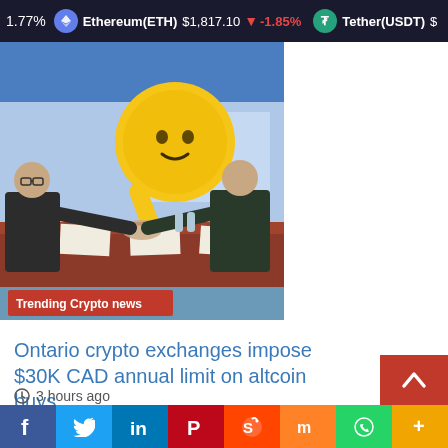1.77%  Ethereum(ETH)  $1,817.10  -1.85%  Tether(USDT)  $
[Figure (illustration): Cartoon illustration of businessmen shaking hands at a conference table with a large crypto coin character hovering above. Red banner reads 'Trending Crypto news'.]
Ontario crypto exchanges impose $30K CAD annual limit on altcoin buys
3 hours ago
Social share bar: Facebook, Twitter, LinkedIn, Pinterest, Reddit, Mix, WhatsApp, More